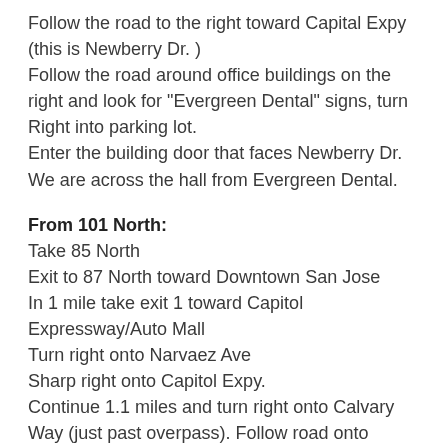Follow the road to the right toward Capital Expy (this is Newberry Dr. )
Follow the road around office buildings on the right and look for "Evergreen Dental" signs, turn
Right into parking lot.
Enter the building door that faces Newberry Dr. We are across the hall from Evergreen Dental.
From 101 North:
Take 85 North
Exit to 87 North toward Downtown San Jose
In 1 mile take exit 1 toward Capitol Expressway/Auto Mall
Turn right onto Narvaez Ave
Sharp right onto Capitol Expy.
Continue 1.1 miles and turn right onto Calvary Way (just past overpass). Follow road onto
Almaden Expressway South.
Continue onto overpass and stay in right hand lane.
Exit toward Capitol Expressway/Auto Mall